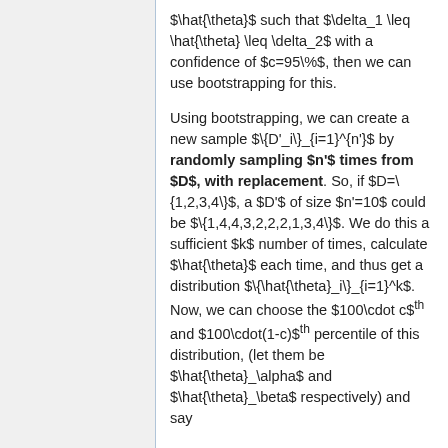$\hat{\theta}$ such that $\delta_1 \leq \hat{\theta} \leq \delta_2$ with a confidence of $c=95\%$, then we can use bootstrapping for this.
Using bootstrapping, we can create a new sample $\{D'_i\}_{i=1}^{n'}$ by randomly sampling $n'$ times from $D$, with replacement. So, if $D=\{1,2,3,4\}$, a $D'$ of size $n'=10$ could be $\{1,4,4,3,2,2,2,1,3,4\}$. We do this a sufficient $k$ number of times, calculate $\hat{\theta}$ each time, and thus get a distribution $\{\hat{\theta}_i\}_{i=1}^k$. Now, we can choose the $100\cdot c$^th and $100\cdot(1-c)$^th percentile of this distribution, (let them be $\hat{\theta}_\alpha$ and $\hat{\theta}_\beta$ respectively) and say